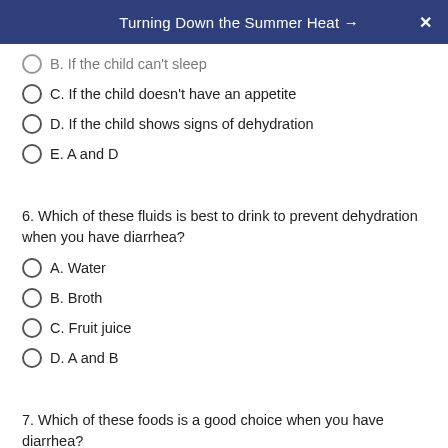Turning Down the Summer Heat →
B. If the child can't sleep
C. If the child doesn't have an appetite
D. If the child shows signs of dehydration
E. A and D
6. Which of these fluids is best to drink to prevent dehydration when you have diarrhea?
A. Water
B. Broth
C. Fruit juice
D. A and B
7. Which of these foods is a good choice when you have diarrhea?
A. Bananas
B. Rice